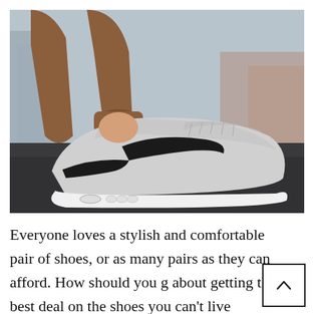[Figure (photo): Close-up photo of a person wearing brown jogger pants and Nike sneakers (grey/white with black swoosh, Air Max style) walking on a dark asphalt surface.]
Everyone loves a stylish and comfortable pair of shoes, or as many pairs as they can afford. How should you go about getting the best deal on the shoes you can't live